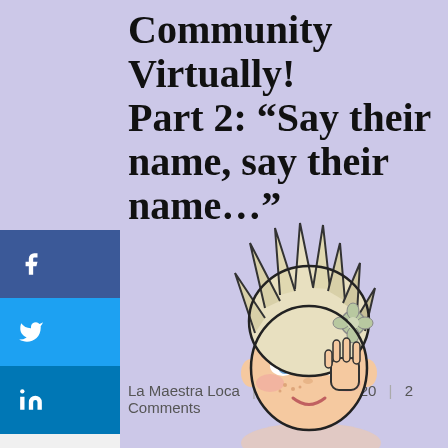Community Virtually! Part 2: “Say their name, say their name…”
La Maestra Loca | August 21, 2020 | 2 Comments
[Figure (illustration): Cartoon bitmoji-style illustration of a blonde woman with short hair and a flower accessory, holding her hand to her ear in a listening pose]